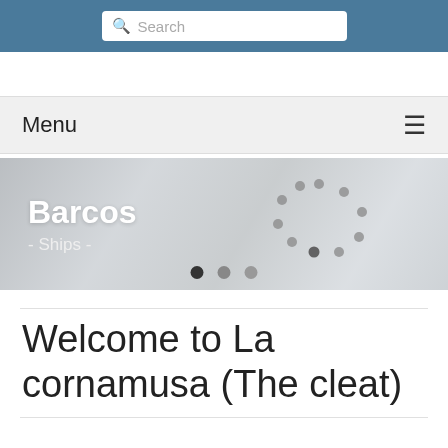Search
Menu
[Figure (illustration): Hero banner showing 'Barcos - Ships -' text overlay on a faded nautical/ship background image with a circular dot pattern graphic in the center and three carousel navigation dots at the bottom.]
Welcome to La cornamusa (The cleat)